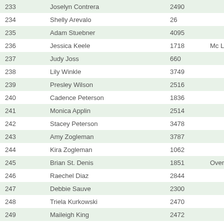| 233 | Joselyn Contrera | 2490 |  |
| 234 | Shelly Arevalo | 26 |  |
| 235 | Adam Stuebner | 4095 |  |
| 236 | Jessica Keele | 1718 | Mc L |
| 237 | Judy Joss | 660 |  |
| 238 | Lily Winkle | 3749 |  |
| 239 | Presley Wilson | 2516 |  |
| 240 | Cadence Peterson | 1836 |  |
| 241 | Monica Applin | 2514 |  |
| 242 | Stacey Peterson | 3478 |  |
| 243 | Amy Zogleman | 3787 |  |
| 244 | Kira Zogleman | 1062 |  |
| 245 | Brian St. Denis | 1851 | Over |
| 246 | Raechel Diaz | 2844 |  |
| 247 | Debbie Sauve | 2300 |  |
| 248 | Triela Kurkowski | 2470 |  |
| 249 | Maileigh King | 2472 |  |
| 250 | Samantha Stratton | 3641 |  |